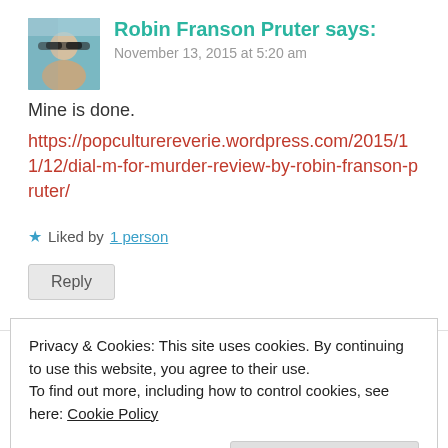[Figure (photo): Avatar photo of Robin Franson Pruter, showing a person with light hair wearing sunglasses outdoors.]
Robin Franson Pruter says:
November 13, 2015 at 5:20 am
Mine is done.
https://popculturereverie.wordpress.com/2015/11/12/dial-m-for-murder-review-by-robin-franson-pruter/
★ Liked by 1 person
Reply
Privacy & Cookies: This site uses cookies. By continuing to use this website, you agree to their use.
To find out more, including how to control cookies, see here: Cookie Policy
Close and accept